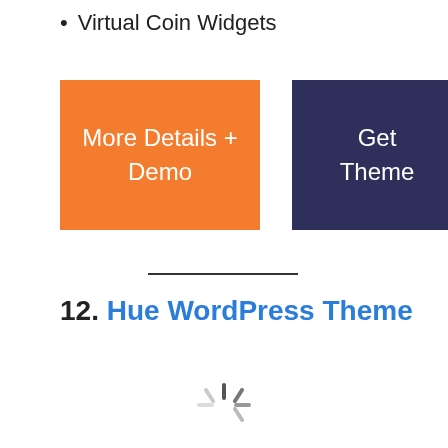Virtual Coin Widgets
[Figure (other): Two buttons: orange 'More Details + Demo' button and dark navy 'Get Theme' button]
12. Hue WordPress Theme
[Figure (other): Loading spinner icon at bottom center of page]